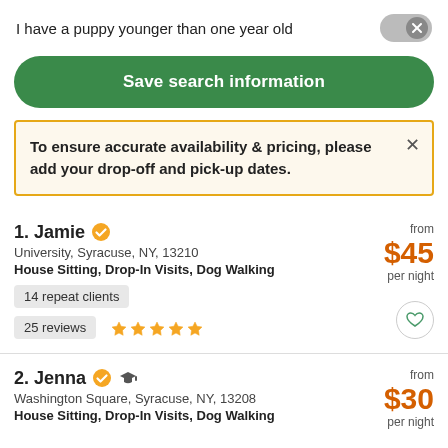I have a puppy younger than one year old
Save search information
To ensure accurate availability & pricing, please add your drop-off and pick-up dates.
1. Jamie
University, Syracuse, NY, 13210
House Sitting, Drop-In Visits, Dog Walking
14 repeat clients
25 reviews
from $45 per night
2. Jenna
Washington Square, Syracuse, NY, 13208
House Sitting, Drop-In Visits, Dog Walking
from $30 per night